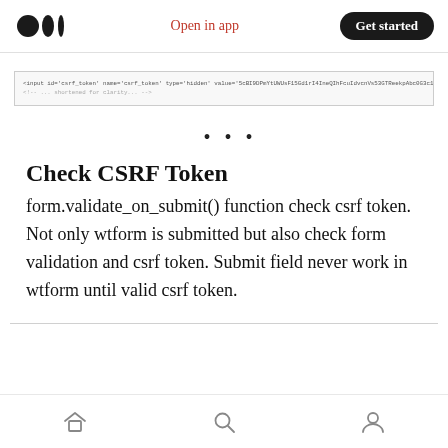Open in app  Get started
[Figure (screenshot): Screenshot of HTML code showing an input element with id='csrf_token', name='csrf_token', type='hidden', and a long value token string]
· · ·
Check CSRF Token
form.validate_on_submit() function check csrf token. Not only wtform is submitted but also check form validation and csrf token. Submit field never work in wtform until valid csrf token.
Home  Search  Profile